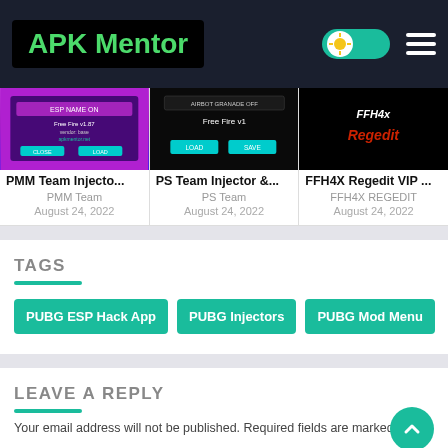APK Mentor
[Figure (screenshot): PMM Team Injector app screenshot with purple/pink UI]
PMM Team Injecto...
PMM Team
August 24, 2022
[Figure (screenshot): PS Team Injector app screenshot with black UI and teal buttons]
PS Team Injector &...
PS Team
August 24, 2022
[Figure (screenshot): FFH4x Regedit VIP app screenshot with black background and red/white text]
FFH4X Regedit VIP ...
FFH4X REGEDIT
August 24, 2022
TAGS
PUBG ESP Hack App
PUBG Injectors
PUBG Mod Menu
LEAVE A REPLY
Your email address will not be published. Required fields are marked *